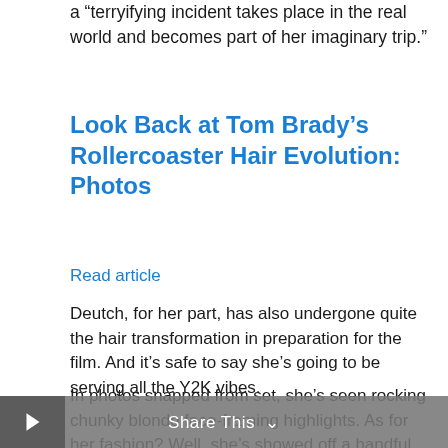a “terryifying incident takes place in the real world and becomes part of her imaginary trip.”
Look Back at Tom Brady’s Rollercoaster Hair Evolution: Photos
Read article
Deutch, for her part, has also undergone quite the hair transformation in preparation for the film. And it’s safe to say she’s going to be serving all the Y2K vibes.
In photos snapped from set, she’s seen rocking chunky blonde face-framing highlights. As for her fashion? Well, she’s showed off a handful of looks including, but most definitely not limited to, plaid mini skirts, open cardigans and baggy cargo pants.
Share This